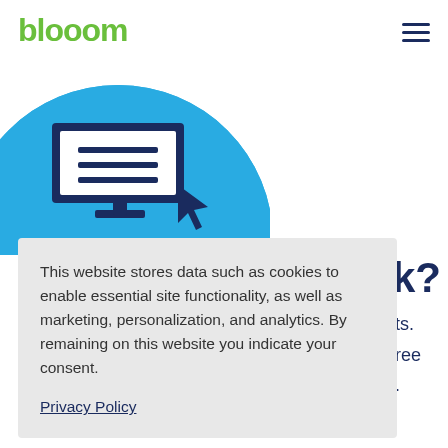blooom
[Figure (illustration): Blue semicircle background with a computer monitor icon and a dark blue cursor arrow pointing at the screen, suggesting online interaction or sign-up.]
This website stores data such as cookies to enable essential site functionality, as well as marketing, personalization, and analytics. By remaining on this website you indicate your consent.
Privacy Policy
ork?

experts.
s for free
better.
hire